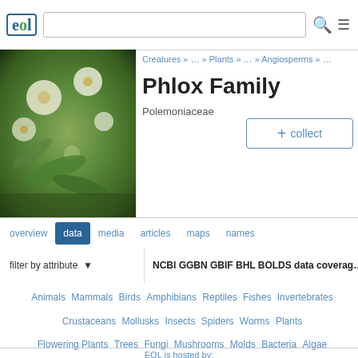EOL [logo] [search bar] [search icon] [menu icon]
Creatures » … » Plants » … » Angiosperms » …
[Figure (photo): Photo of Phlox family flowers, green and yellow tones]
Phlox Family
Polemoniaceae
+ collect
overview  data  media  articles  maps  names
filter by attribute ▼   NCBI GGBN GBIF BHL BOLDS data coverage
Animals
Mammals
Birds
Amphibians
Reptiles
Fishes
Invertebrates
Crustaceans
Mollusks
Insects
Spiders
Worms
Plants
Flowering Plants
Trees
Fungi
Mushrooms
Molds
Bacteria
Algae
Protists
Archaea
Viruses
EOL is hosted by:
[Figure (logo): National Museum of Natural History Smithsonian logo]